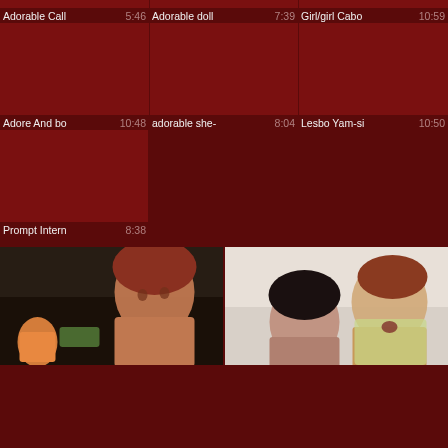[Figure (screenshot): Video thumbnail grid - top partial row (dark red placeholders)]
Adorable Call  5:46  Adorable doll  7:39  Girl/girl Cabo  10:59
[Figure (screenshot): Second row of video thumbnails - dark red placeholders]
Adore And bo  10:48  adorable she-  8:04  Lesbo Yam-si  10:50
[Figure (screenshot): Third row - single video thumbnail placeholder]
Prompt Intern  8:38
[Figure (photo): Two photo thumbnails at bottom of page showing people]